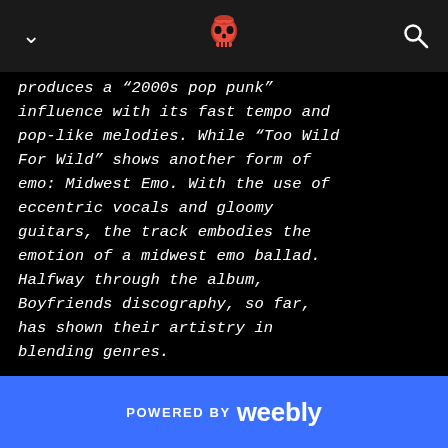[chevron] [skull logo] [search icon]
produces a "2000s pop punk" influence with its fast tempo and pop-like melodies. While "Too Wild For Wild" shows another form of emo: Midwest Emo. With the use of eccentric vocals and gloomy guitars, the track embodies the emotion of a midwest emo ballad. Halfway through the album, Boyfriends discography, so far, has shown their artistry in blending genres.
POWERED BY weebly